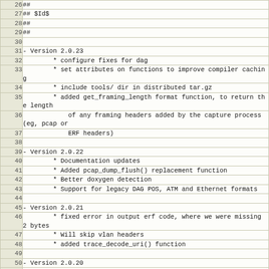Code listing lines 26-54, showing version changelog comments in a source file
| Line | Code |
| --- | --- |
| 26 | ## |
| 27 | ## $Id$ |
| 28 | ## |
| 29 | ## |
| 30 |  |
| 31 | - Version 2.0.23 |
| 32 |         * configure fixes for dag |
| 33 |         * set attributes on functions to improve compiler caching |
| 34 |         * include tools/ dir in distributed tar.gz |
| 35 |         * added get_framing_length format function, to return the length |
| 36 |             of any framing headers added by the capture process (eg, pcap or |
| 37 |             ERF headers) |
| 38 |  |
| 39 | - Version 2.0.22 |
| 40 |         * Documentation updates |
| 41 |         * Added pcap_dump_flush() replacement function |
| 42 |         * Better doxygen detection |
| 43 |         * Support for legacy DAG POS, ATM and Ethernet formats |
| 44 |  |
| 45 | - Version 2.0.21 |
| 46 |         * fixed error in output erf code, where we were missing 2 bytes |
| 47 |         * Will skip vlan headers |
| 48 |         * added trace_decode_uri() function |
| 49 |  |
| 50 | - Version 2.0.20 |
| 51 |         * byte-ordering fixups for WAG |
| 52 |         * writer functions for pcap and wag |
| 53 |         * fix of writer functions for erf |
| 54 |         * format conversion into pcap and erf formats |